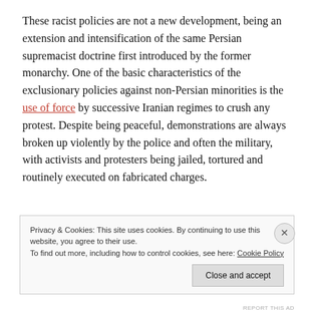These racist policies are not a new development, being an extension and intensification of the same Persian supremacist doctrine first introduced by the former monarchy. One of the basic characteristics of the exclusionary policies against non-Persian minorities is the use of force by successive Iranian regimes to crush any protest. Despite being peaceful, demonstrations are always broken up violently by the police and often the military, with activists and protesters being jailed, tortured and routinely executed on fabricated charges.
Privacy & Cookies: This site uses cookies. By continuing to use this website, you agree to their use. To find out more, including how to control cookies, see here: Cookie Policy
REPORT THIS AD